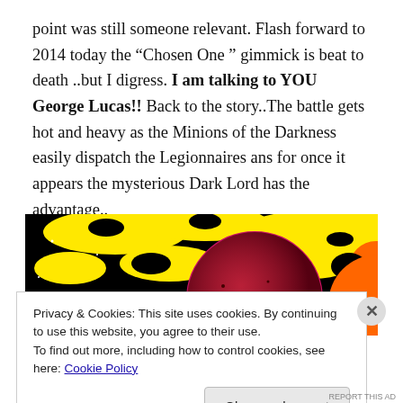point was still someone relevant. Flash forward to 2014 today the “Chosen One ” gimmick is beat to death ..but I digress. I am talking to YOU George Lucas!! Back to the story..The battle gets hot and heavy as the Minions of the Darkness easily dispatch the Legionnaires ans for once it appears the mysterious Dark Lord has the advantage..
[Figure (illustration): Comic book style illustration showing a planet or moon against a colorful yellow and black space background with another orange celestial body visible at the right edge.]
Privacy & Cookies: This site uses cookies. By continuing to use this website, you agree to their use.
To find out more, including how to control cookies, see here: Cookie Policy